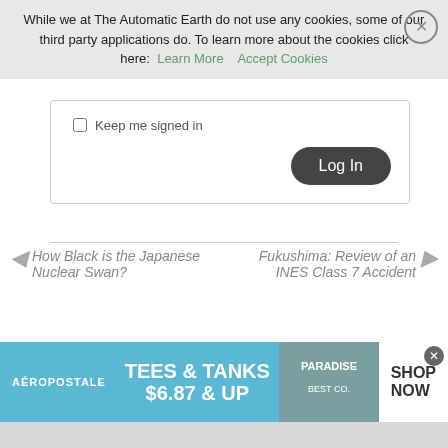While we at The Automatic Earth do not use any cookies, some of our third party applications do. To learn more about the cookies click here: Learn More   Accept Cookies
Keep me signed in
Log In
How Black is the Japanese Nuclear Swan?
Fukushima: Review of an INES Class 7 Accident
[Figure (screenshot): Aeropostale advertisement banner: TEES & TANKS $6.87 & UP, SHOP NOW]